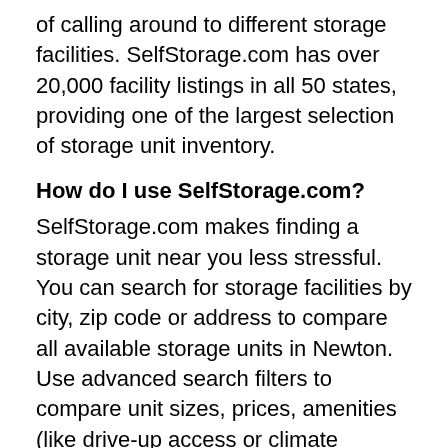of calling around to different storage facilities. SelfStorage.com has over 20,000 facility listings in all 50 states, providing one of the largest selection of storage unit inventory.
How do I use SelfStorage.com?
SelfStorage.com makes finding a storage unit near you less stressful. You can search for storage facilities by city, zip code or address to compare all available storage units in Newton. Use advanced search filters to compare unit sizes, prices, amenities (like drive-up access or climate control), contactless move-ins and exclusive online specials.
How do I reserve my storage unit on SelfStorage.com?
When you find the right storage unit in Newton for your needs, you can reserve online for free with no credit card required. You can also call to reserve your